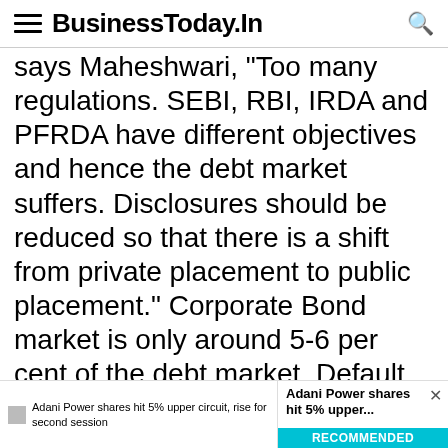BusinessToday.In
says Maheshwari, "Too many regulations. SEBI, RBI, IRDA and PFRDA have different objectives and hence the debt market suffers. Disclosures should be reduced so that there is a shift from private placement to public placement." Corporate Bond market is only around 5-6 per cent of the debt market. Default rates in corporate bond market is higher in India. Non-banking investors of corporate bonds cannot have recourse to SARFAESI act and CDR. So mutual funds stay away. I think for most financial products you don't have enforceable bankruptcy
Adani Power shares hit 5% upper circuit, rise for second session | Adani Power shares hit 5% upper... RECOMMENDED